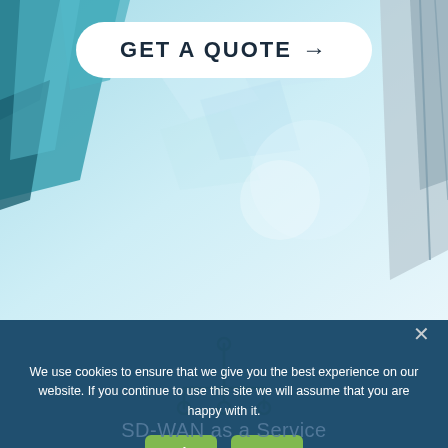[Figure (photo): Background photo of teal/blue glass building exterior with sky and geometric shapes overlay]
GET A QUOTE →
[Figure (illustration): Green network/hub icon with central node and branching connections]
We use cookies to ensure that we give you the best experience on our website. If you continue to use this site we will assume that you are happy with it.
Ok
No
SD-WAN as a Service